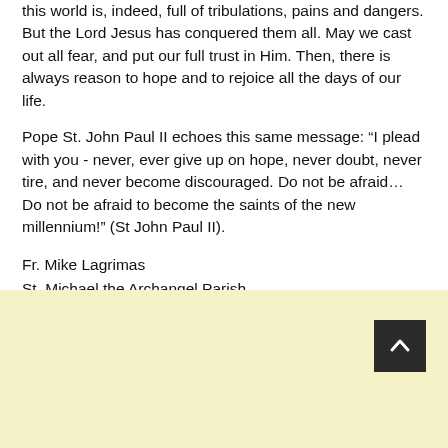this world is, indeed, full of tribulations, pains and dangers. But the Lord Jesus has conquered them all. May we cast out all fear, and put our full trust in Him. Then, there is always reason to hope and to rejoice all the days of our life.
Pope St. John Paul II echoes this same message: “I plead with you - never, ever give up on hope, never doubt, never tire, and never become discouraged. Do not be afraid… Do not be afraid to become the saints of the new millennium!” (St John Paul II).
Fr. Mike Lagrimas
St. Michael the Archangel Parish
Diocese of Novaliches
[Figure (other): Light yellow background section at the bottom of the page with a dark square scroll-to-top button containing a white upward-pointing chevron arrow in the bottom right area.]